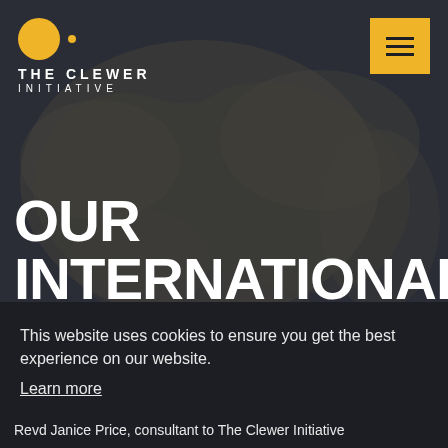[Figure (screenshot): The Clewer Initiative website screenshot showing a dark background with a world map silhouette, navigation bar with logo and hamburger menu, large hero text reading OUR INTERNATIONAL, a cookie consent banner, and a bottom text line.]
OUR INTERNATIONAL
This website uses cookies to ensure you get the best experience on our website.
Learn more
Got it!
Revd Janice Price, consultant to The Clewer Initiative